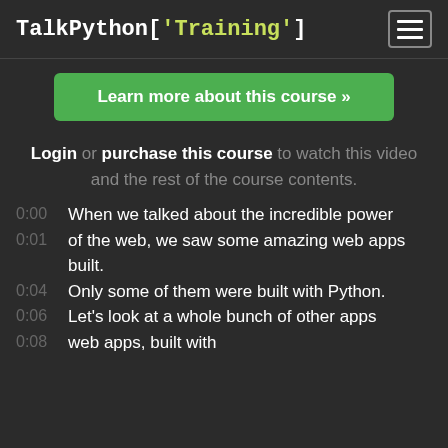TalkPython['Training']
Learn more about this course »
Login or purchase this course to watch this video and the rest of the course contents.
0:00   When we talked about the incredible power
0:01   of the web, we saw some amazing web apps built.
0:04   Only some of them were built with Python.
0:06   Let's look at a whole bunch of other apps
0:08   web apps, built with